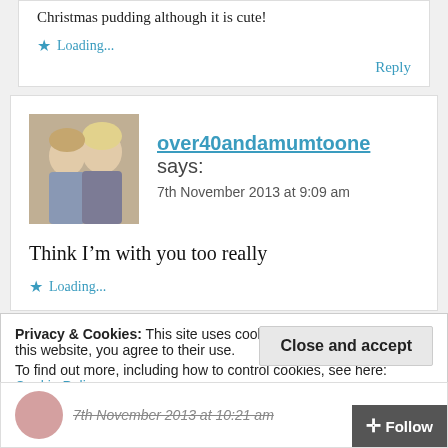Christmas pudding although it is cute!
Loading...
Reply
[Figure (photo): Profile photo of two people (woman and child) in a restaurant or cafe setting]
over40andamumtoone says:
7th November 2013 at 9:09 am
Think I’m with you too really
Loading...
Privacy & Cookies: This site uses cookies. By continuing to use this website, you agree to their use. To find out more, including how to control cookies, see here: Cookie Policy
Close and accept
7th November 2013 at 10:21 am
Follow